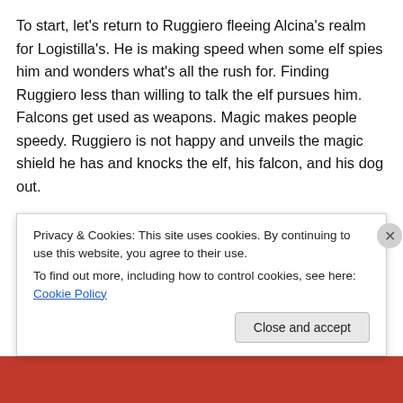To start, let's return to Ruggiero fleeing Alcina's realm for Logistilla's. He is making speed when some elf spies him and wonders what's all the rush for. Finding Ruggiero less than willing to talk the elf pursues him. Falcons get used as weapons. Magic makes people speedy. Ruggiero is not happy and unveils the magic shield he has and knocks the elf, his falcon, and his dog out.
Who was this elf? We don't know yet.
Meanwhile Alcina learns of Ruggiero's flight and promptly slips into a rage and rends her clothes. But she doesn't
Privacy & Cookies: This site uses cookies. By continuing to use this website, you agree to their use.
To find out more, including how to control cookies, see here: Cookie Policy